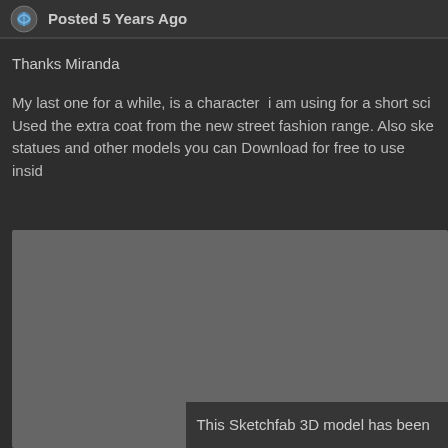Posted 5 Years Ago
Thanks Miranda
My last one for a while, is a character  i am using for a short sci  Used the extra coat from the new street fashion range. Also ske statues and other models you can Download for free to use insid
[Figure (other): Embedded Sketchfab 3D model viewer area, grey placeholder with overlay text reading 'This Sketchfab 3D model has been']